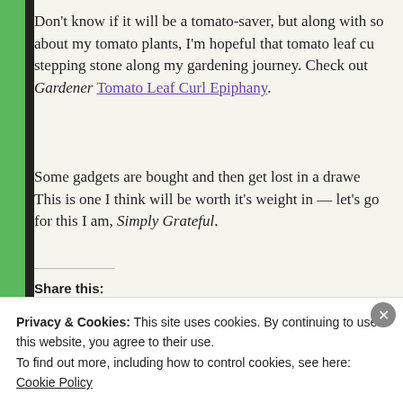Don't know if it will be a tomato-saver, but along with so about my tomato plants, I'm hopeful that tomato leaf cu stepping stone along my gardening journey. Check out Gardener Tomato Leaf Curl Epiphany.
Some gadgets are bought and then get lost in a drawer. This is one I think will be worth it's weight in — let's go for this I am, Simply Grateful.
Share this:
Print  Tweet  Save  Post
Like
Privacy & Cookies: This site uses cookies. By continuing to use this website, you agree to their use.
To find out more, including how to control cookies, see here: Cookie Policy
Close and accept